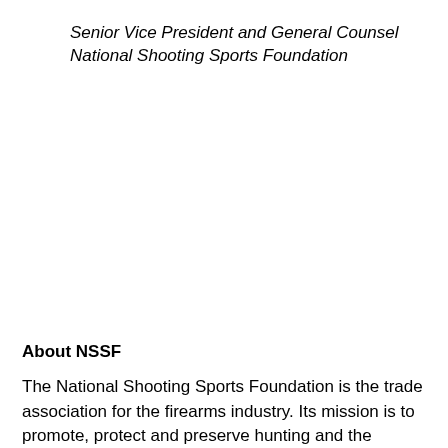Senior Vice President and General Counsel
National Shooting Sports Foundation
About NSSF
The National Shooting Sports Foundation is the trade association for the firearms industry. Its mission is to promote, protect and preserve hunting and the shooting sports. Formed in 1961, NSSF has a membership of more